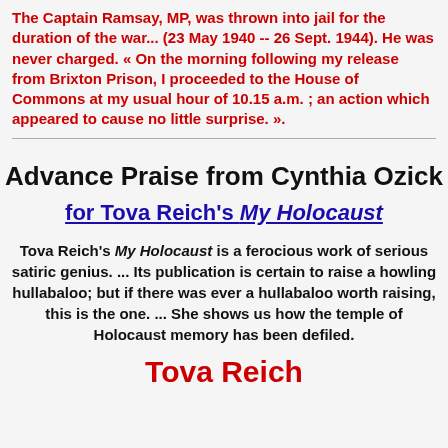The Captain Ramsay, MP, was thrown into jail for the duration of the war... (23 May 1940 -- 26 Sept. 1944). He was never charged. « On the morning following my release from Brixton Prison, I proceeded to the House of Commons at my usual hour of 10.15 a.m. ; an action which appeared to cause no little surprise. ».
Advance Praise from Cynthia Ozick
for Tova Reich's My Holocaust
Tova Reich's My Holocaust is a ferocious work of serious satiric genius. ... Its publication is certain to raise a howling hullabaloo; but if there was ever a hullabaloo worth raising, this is the one. ... She shows us how the temple of Holocaust memory has been defiled.
Tova Reich